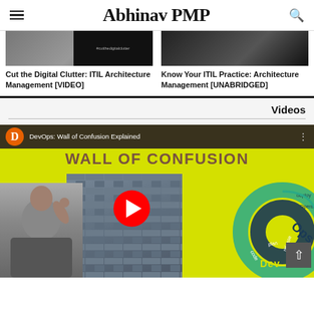Abhinav PMP
[Figure (screenshot): Thumbnail image for Cut the Digital Clutter: ITIL Architecture Management [VIDEO]]
Cut the Digital Clutter: ITIL Architecture Management [VIDEO]
[Figure (screenshot): Thumbnail image for Know Your ITIL Practice: Architecture Management [UNABRIDGED]]
Know Your ITIL Practice: Architecture Management [UNABRIDGED]
Videos
[Figure (screenshot): YouTube video thumbnail: DevOps: Wall of Confusion Explained. Shows a person scratching head, a stone wall, a red YouTube play button, and a DevOps cycle diagram on yellow background.]